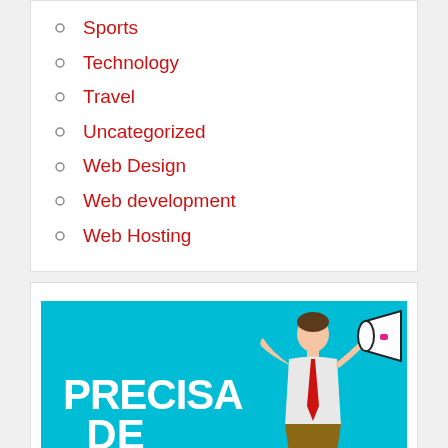Sports
Technology
Travel
Uncategorized
Web Design
Web development
Web Hosting
[Figure (illustration): Cyan advertisement banner showing a man with megaphone and text 'PRECISA DE SUPORTE?' with phone number 0800 646 7000]